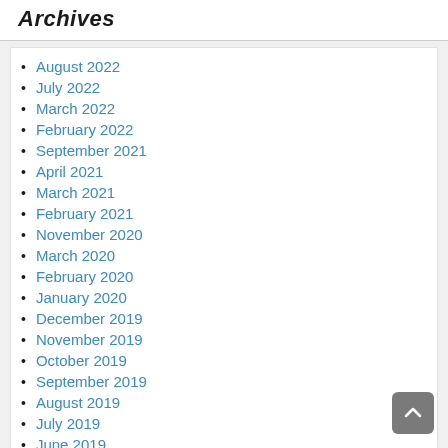Archives
August 2022
July 2022
March 2022
February 2022
September 2021
April 2021
March 2021
February 2021
November 2020
March 2020
February 2020
January 2020
December 2019
November 2019
October 2019
September 2019
August 2019
July 2019
June 2019
May 2019